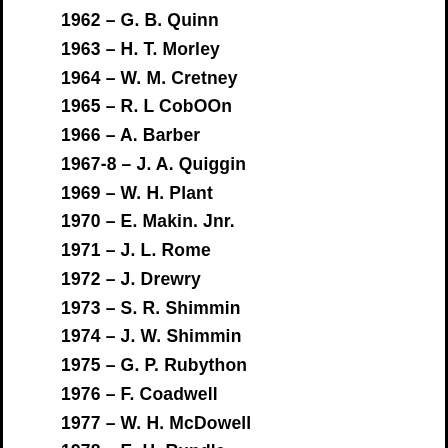1962 – G. B. Quinn
1963 – H. T. Morley
1964 – W. M. Cretney
1965 – R. L CobOOn
1966 – A. Barber
1967-8 – J. A. Quiggin
1969 – W. H. Plant
1970 – E. Makin. Jnr.
1971 – J. L. Rome
1972 – J. Drewry
1973 – S. R. Shimmin
1974 – J. W. Shimmin
1975 – G. P. Rubython
1976 – F. Coadwell
1977 – W. H. McDowell
1978 – E. H. Rundle
1979 – F. A. Watterson